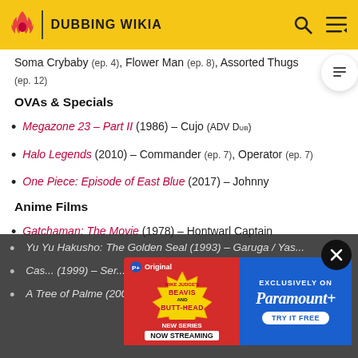DUBBING WIKIA
Soma Crybaby (ep. 4), Flower Man (ep. 8), Assorted Thugs (ep. 12)
OVAs & Specials
Megazone 23 – Part II (1986) – Cujo (ADV Dub)
Halo Legends (2010) – Commander (ep. 7), Operator (ep. 7)
One Piece: Episode of East Blue (2017) – Johnny
Anime Films
Gatchaman: The Movie (1978) – Hontwarl Captain
Yu Yu Hakusho: The Golden Seal (1993) – Garuga / Yas...
Cas... (1999) – Ser...
A Tree of Palme (2002) – Sawadust, Additional Voices
[Figure (screenshot): Advertisement banner for Mike Judge's Beavis and Butt-Head new series, now streaming exclusively on Paramount+, try it free.]